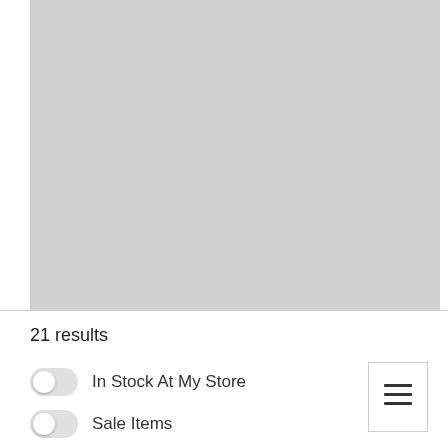[Figure (other): Large gray placeholder image area]
21 results
In Stock At My Store
Sale Items
[Figure (other): List view icon button with three horizontal lines]